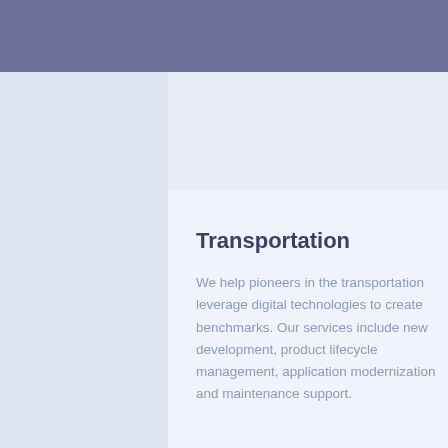Transportation
We help pioneers in the transportation leverage digital technologies to create benchmarks. Our services include new development, product lifecycle management, application modernization and maintenance support.
Healthcare